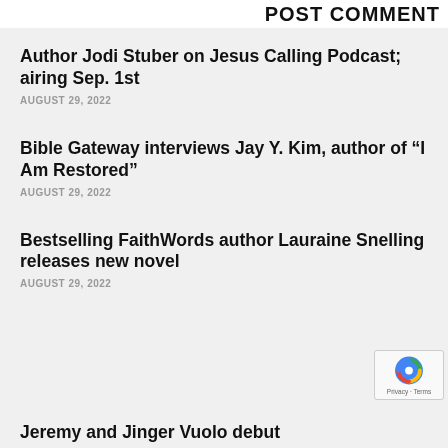POST COMMENT
Author Jodi Stuber on Jesus Calling Podcast; airing Sep. 1st
AUGUST 29, 2022
Bible Gateway interviews Jay Y. Kim, author of “I Am Restored”
AUGUST 29, 2022
Bestselling FaithWords author Lauraine Snelling releases new novel
AUGUST 29, 2022
Jeremy and Jinger Vuolo debut